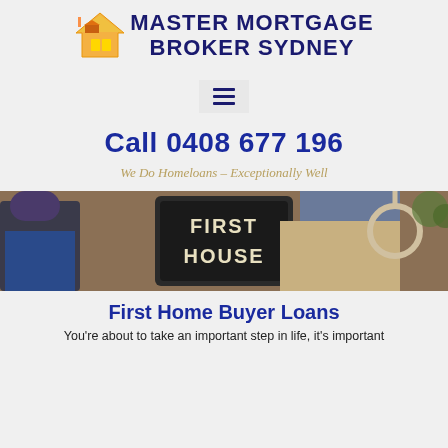[Figure (logo): Master Mortgage Broker Sydney logo with house/rooftop icon in orange and gold, company name in dark navy bold uppercase text]
[Figure (other): Hamburger menu button with three dark navy horizontal lines on light grey background]
Call 0408 677 196
We Do Homeloans – Exceptionally Well
[Figure (photo): Photo of two people sitting holding a chalkboard sign reading 'FIRST HOUSE', with rope visible on the right]
First Home Buyer Loans
You're about to take an important step in life, it's important